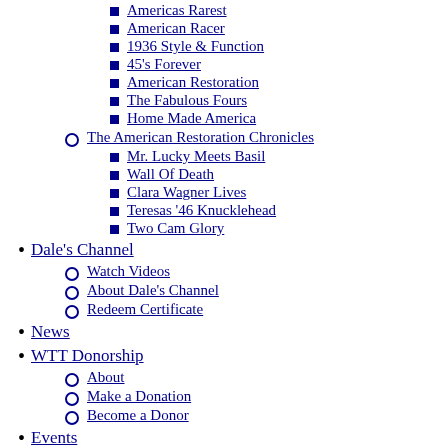Americas Rarest
American Racer
1936 Style & Function
45's Forever
American Restoration
The Fabulous Fours
Home Made America
The American Restoration Chronicles
Mr. Lucky Meets Basil
Wall Of Death
Clara Wagner Lives
Teresas '46 Knucklehead
Two Cam Glory
Dale's Channel
Watch Videos
About Dale's Channel
Redeem Certificate
News
WTT Donorship
About
Make a Donation
Become a Donor
Events
New
Drive for History